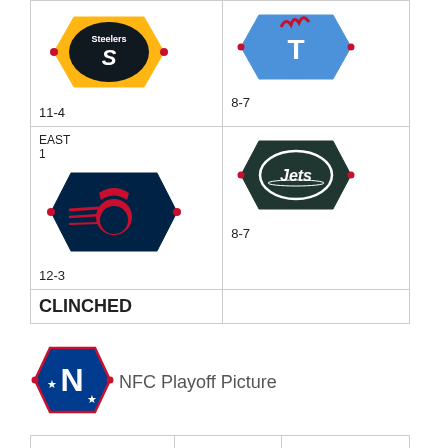[Figure (illustration): Pittsburgh Steelers NFL team logo hexagon shape, gold/black]
11-4
[Figure (illustration): Tennessee Titans NFL team logo hexagon shape, blue/red]
8-7
EAST
1
[Figure (illustration): New England Patriots NFL team logo hexagon shape, navy/red]
12-3
[Figure (illustration): New York Jets NFL team logo hexagon shape, green/white]
8-7
CLINCHED
[Figure (illustration): NFC conference logo hexagon shape, blue/white with N and stars]
NFC Playoff Picture
| DIVISION LEADERS | WILD CARD | NOTES |
| --- | --- | --- |
| EAST |  |  |
EAST